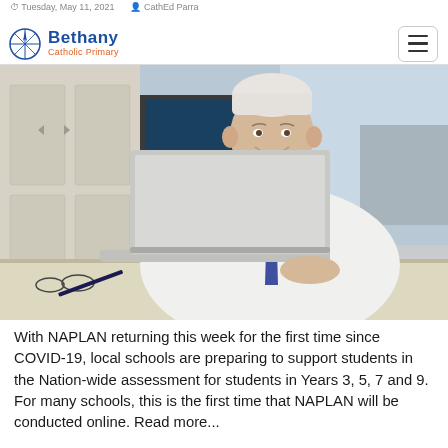Tuesday, May 11, 2021 · CathEd Parra
[Figure (logo): Bethany Catholic Primary school logo with compass rose icon, blue text 'Bethany' and orange text 'Catholic Primary']
[Figure (photo): A smiling older man in a white shirt and blue tie sitting at a desk with an open laptop in an office setting]
With NAPLAN returning this week for the first time since COVID-19, local schools are preparing to support students in the Nation-wide assessment for students in Years 3, 5, 7 and 9. For many schools, this is the first time that NAPLAN will be conducted online. Read more...